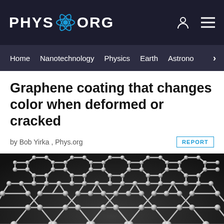PHYS.ORG
Home  Nanotechnology  Physics  Earth  Astronomy
Graphene coating that changes color when deformed or cracked
by Bob Yirka , Phys.org
[Figure (photo): 3D illustration of graphene lattice structure showing hexagonal carbon atom arrangement viewed at a perspective angle against a dark background]
REPORT